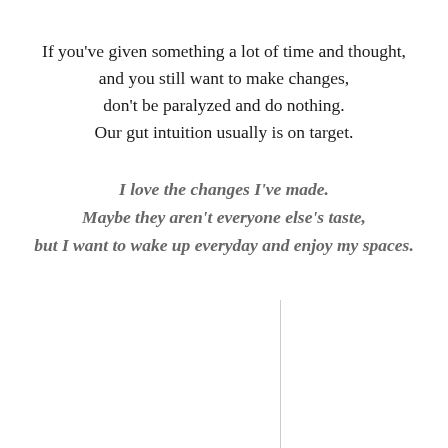If you've given something a lot of time and thought, and you still want to make changes, don't be paralyzed and do nothing. Our gut intuition usually is on target.
I love the changes I've made. Maybe they aren't everyone else's taste, but I want to wake up everyday and enjoy my spaces.